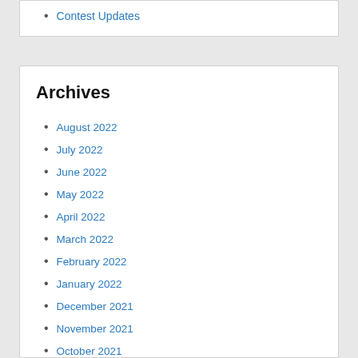Contest Updates
Archives
August 2022
July 2022
June 2022
May 2022
April 2022
March 2022
February 2022
January 2022
December 2021
November 2021
October 2021
September 2021
August 2021
July 2021
June 2021
May 2021